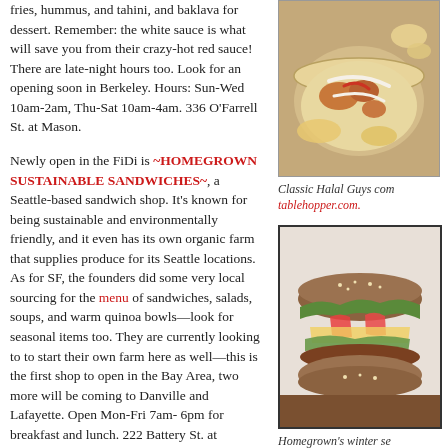fries, hummus, and tahini, and baklava for dessert. Remember: the white sauce is what will save you from their crazy-hot red sauce! There are late-night hours too. Look for an opening soon in Berkeley. Hours: Sun-Wed 10am-2am, Thu-Sat 10am-4am. 336 O’Farrell St. at Mason.
Newly open in the FiDi is ~HOMEGROWN SUSTAINABLE SANDWICHES~, a Seattle-based sandwich shop. It’s known for being sustainable and environmentally friendly, and it even has its own organic farm that supplies produce for its Seattle locations. As for SF, the founders did some very local sourcing for the menu of sandwiches, salads, soups, and warm quinoa bowls—look for seasonal items too. They are currently looking to to start their own farm here as well—this is the first shop to open in the Bay Area, two more will be coming to Danville and Lafayette. Open Mon-Fri 7am-6pm for breakfast and lunch. 222 Battery St. at California.
Gelato lovers will want to check out the new ~COLETTA~ that just opened in SoMa. The founders—Venezuelan-born Antonio Massimini and Swiss native Henri Waltenspühl—attended Bologna’s Carpigiani Gelato University. All…
[Figure (photo): Overhead photo of Classic Halal Guys combo meal in a foil container with toppings]
Classic Halal Guys combo. Photo from tablehopper.com.
[Figure (photo): Photo of a Homegrown sandwich on whole grain bread with vegetables and cheese]
Homegrown’s winter se... cheese with Black Miss...